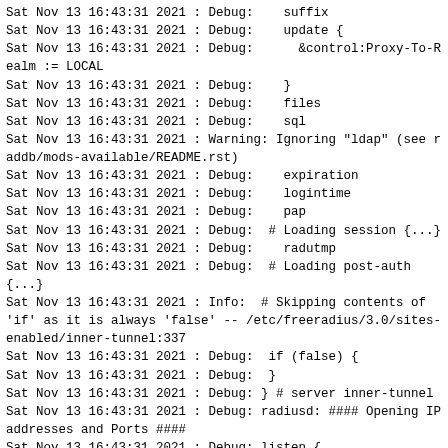Sat Nov 13 16:43:31 2021 : Debug:    suffix
Sat Nov 13 16:43:31 2021 : Debug:    update {
Sat Nov 13 16:43:31 2021 : Debug:      &control:Proxy-To-Realm := LOCAL
Sat Nov 13 16:43:31 2021 : Debug:    }
Sat Nov 13 16:43:31 2021 : Debug:    files
Sat Nov 13 16:43:31 2021 : Debug:    sql
Sat Nov 13 16:43:31 2021 : Warning: Ignoring "ldap" (see raddb/mods-available/README.rst)
Sat Nov 13 16:43:31 2021 : Debug:    expiration
Sat Nov 13 16:43:31 2021 : Debug:    logintime
Sat Nov 13 16:43:31 2021 : Debug:    pap
Sat Nov 13 16:43:31 2021 : Debug:  # Loading session {...}
Sat Nov 13 16:43:31 2021 : Debug:    radutmp
Sat Nov 13 16:43:31 2021 : Debug:  # Loading post-auth {...}
Sat Nov 13 16:43:31 2021 : Info:  # Skipping contents of 'if' as it is always 'false' -- /etc/freeradius/3.0/sites-enabled/inner-tunnel:337
Sat Nov 13 16:43:31 2021 : Debug:  if (false) {
Sat Nov 13 16:43:31 2021 : Debug:  }
Sat Nov 13 16:43:31 2021 : Debug: } # server inner-tunnel
Sat Nov 13 16:43:31 2021 : Debug: radiusd: #### Opening IP addresses and Ports ####
Sat Nov 13 16:43:31 2021 : Debug: listen {
Sat Nov 13 16:43:31 2021 : Debug:         type = "auth"
Sat Nov 13 16:43:31 2021 : Debug:         ipaddr = *
Sat Nov 13 16:43:31 2021 : Debug:         port = 0